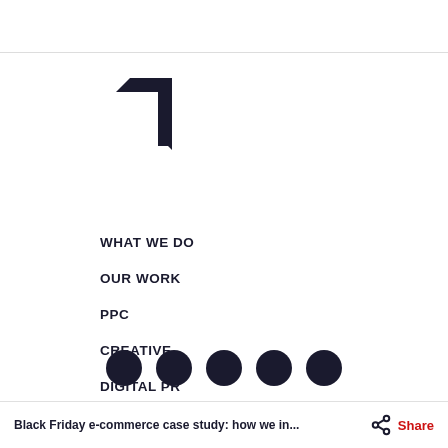[Figure (logo): Angular arrow/flag logo mark in black]
WHAT WE DO
APPROACH
OUR WORK
SEO
PPC
WEB
CREATIVE
CONTENT MARKETING
DIGITAL PR
SOCIAL MEDIA
DIGITAL STRATEGY
Black Friday e-commerce case study: how we in...    Share